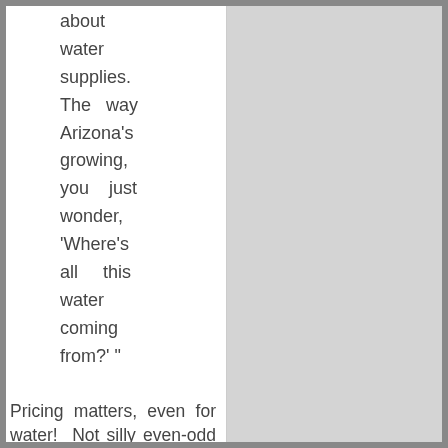about water supplies. The way Arizona's growing, you just wonder, 'Where's all this water coming from?' "
Pricing matters, even for water!  Not silly even-odd day lawn watering laws. Just look at these numbers:
| City | Monthly cost for water |
| --- | --- |